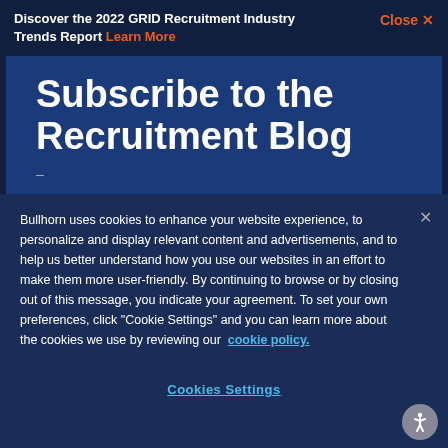Discover the 2022 GRID Recruitment Industry Trends Report Learn More
Subscribe to the Recruitment Blog
Bullhorn uses cookies to enhance your website experience, to personalize and display relevant content and advertisements, and to help us better understand how you use our websites in an effort to make them more user-friendly. By continuing to browse or by closing out of this message, you indicate your agreement. To set your own preferences, click "Cookie Settings" and you can learn more about the cookies we use by reviewing our cookie policy.
Cookies Settings